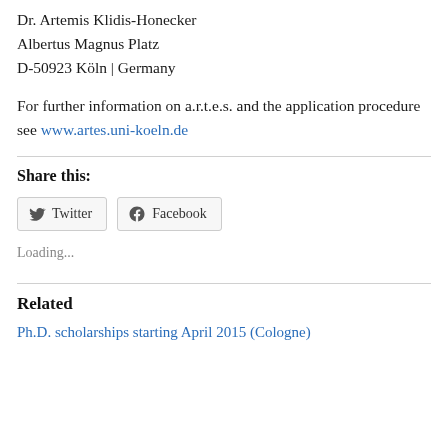Dr. Artemis Klidis-Honecker
Albertus Magnus Platz
D-50923 Köln | Germany
For further information on a.r.t.e.s. and the application procedure see www.artes.uni-koeln.de
Share this:
[Figure (other): Twitter and Facebook share buttons]
Loading...
Related
Ph.D. scholarships starting April 2015 (Cologne)